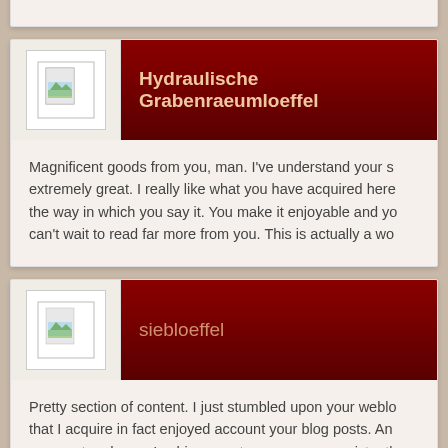Hydraulische Grabenraeumloeffel
Magnificent goods from you, man. I've understand your s extremely great. I really like what you have acquired here, the way in which you say it. You make it enjoyable and yo can't wait to read far more from you. This is actually a wo
siebloeffel
Pretty section of content. I just stumbled upon your weblo that I acquire in fact enjoyed account your blog posts. An augment and even I achievement you access consistentl
szukam bogatego